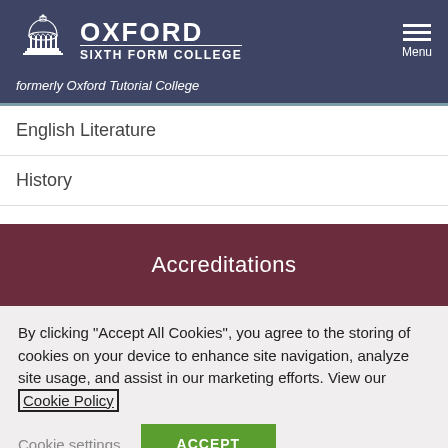[Figure (logo): Oxford Sixth Form College logo with dome building illustration and text 'OXFORD SIXTH FORM COLLEGE']
formerly Oxford Tutorial College
English Literature
History
Accreditations
By clicking "Accept All Cookies", you agree to the storing of cookies on your device to enhance site navigation, analyze site usage, and assist in our marketing efforts. View our Cookie Policy
Cookie settings
ACCEPT